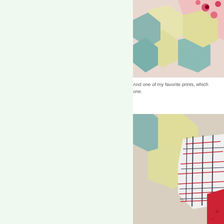[Figure (photo): Close-up photo of a quilt with hexagonal fabric patches — cream/yellow hexagons, teal/mint hexagons, and a pink/red floral print fabric in the upper right corner.]
And one of my favorite prints, which one.
[Figure (photo): Close-up photo of a quilt with hexagonal fabric patches — cream/yellow hexagons, teal/mint hexagons, a geometric grid/crosshatch print in red and black on white, and a solid red fabric patch.]